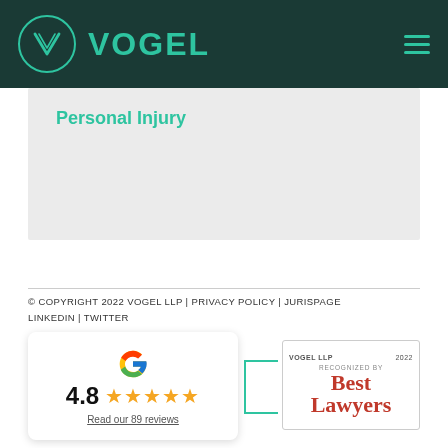[Figure (logo): Vogel LLP law firm logo: teal V-in-circle icon followed by bold teal VOGEL text on dark green background header with hamburger menu icon]
Personal Injury
© COPYRIGHT 2022 VOGEL LLP | PRIVACY POLICY | JURISPAGE
LINKEDIN | TWITTER
[Figure (infographic): Google review card showing 4.8 stars (5 gold stars) with text 'Read our 89 reviews']
[Figure (logo): Best Lawyers badge: VOGEL LLP 2022 RECOGNIZED BY Best Lawyers]